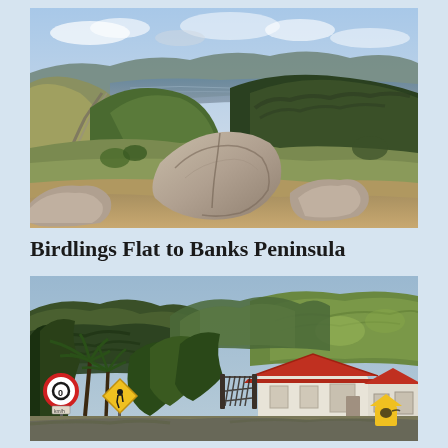[Figure (photo): Aerial panoramic view of Banks Peninsula, New Zealand, showing rolling green hills, a winding road, large granite boulders in the foreground, and a bay with water visible in the background under a partly cloudy sky.]
Birdlings Flat to Banks Peninsula
[Figure (photo): Road scene on Banks Peninsula with lush green forested hills in the background, a small building/marae with a red roof, road signs including a speed limit sign and a school crossing sign, and native palm-like trees in the foreground.]